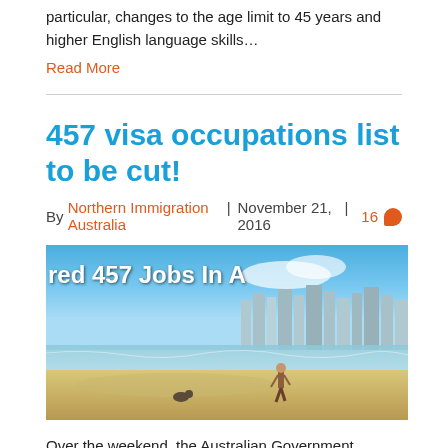particular, changes to the age limit to 45 years and higher English language skills…
Read More
457 visa occupations list to be cut!
By Northern Immigration Australia | November 21, 2016 | 16
[Figure (photo): Beach scene with city skyline in background and a person walking along the shoreline. Overlay text reads 'red 457 Jobs In A']
Over the weekend, the Australian Government announced they will be cutting jobs from the occupations list for 457 visa